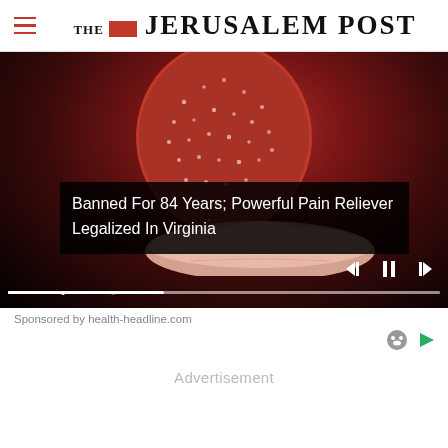THE JERUSALEM POST
[Figure (photo): A red glittery berry/strawberry resting on a fingertip against a dark background, with video player controls overlaid at bottom including a progress bar and playback buttons]
Banned For 84 Years; Powerful Pain Reliever Legalized In Virginia
Sponsored by health-headline.com
Advertisement